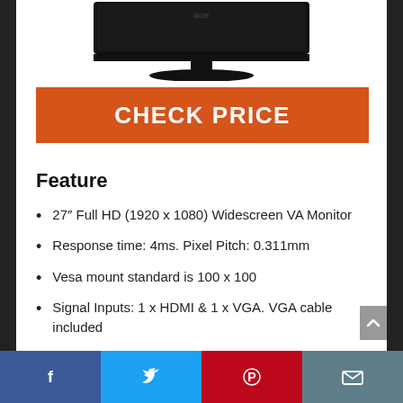[Figure (photo): Acer monitor shown from front, with stand, partially cropped at top]
CHECK PRICE
Feature
27″ Full HD (1920 x 1080) Widescreen VA Monitor
Response time: 4ms. Pixel Pitch: 0.311mm
Vesa mount standard is 100 x 100
Signal Inputs: 1 x HDMI & 1 x VGA. VGA cable included
Facebook | Twitter | Pinterest | Email